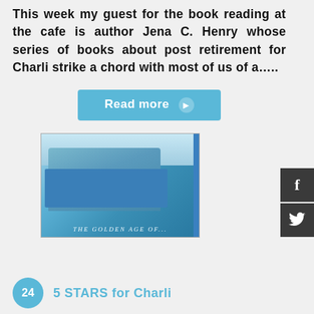This week my guest for the book reading at the cafe is author Jena C. Henry whose series of books about post retirement for Charli strike a chord with most of us of a…..
Read more >
[Figure (photo): Book cover image showing a blue wicker basket or container with fabric items, with text at the bottom reading 'THE GOLDEN AGE OF...' and a blue vertical stripe on the right side]
5 STARS for Charli